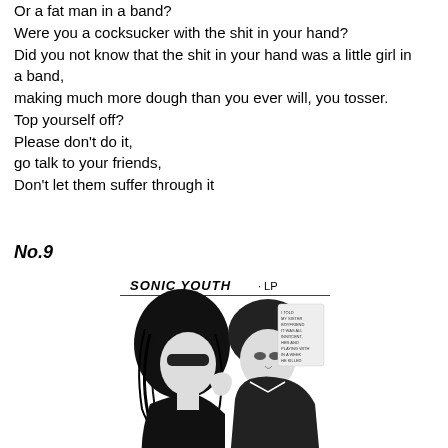Or a fat man in a band?
Were you a cocksucker with the shit in your hand?
Did you not know that the shit in your hand was a little girl in a band,
making much more dough than you ever will, you tosser.
Top yourself off?
Please don't do it,
go talk to your friends,
Don't let them suffer through it
No.9
[Figure (illustration): Black and white comic-style illustration labeled 'SONIC YOUTH · LP' showing two people in close proximity, one with long dark hair and sunglasses, the other with short dark hair. Comic book speech bubble text visible in background.]